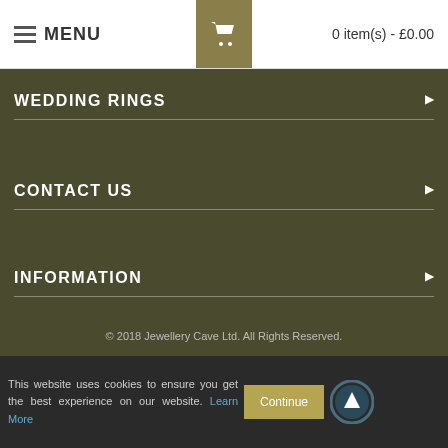MENU | 0 item(s) - £0.00
WEDDING RINGS
CONTACT US
INFORMATION
CONNECT WITH US
© 2018 Jewellery Cave Ltd. All Rights Reserved.
This website uses cookies to ensure you get the best experience on our website. Learn More